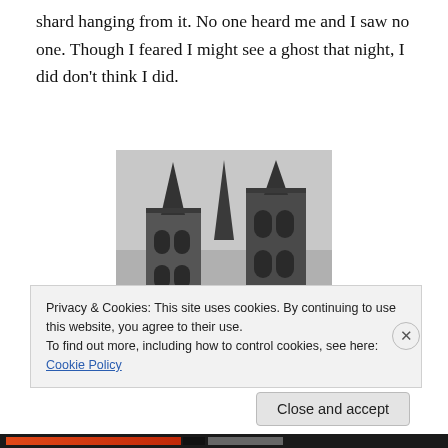shard hanging from it. No one heard me and I saw no one. Though I feared I might see a ghost that night, I did don't think I did.
[Figure (photo): Black and white photo of a Gothic-style building (church or mansion) with pointed spires and arched windows, viewed from below at an angle. A semi-transparent banner across the bottom reads 'Damon's House' in serif font.]
Privacy & Cookies: This site uses cookies. By continuing to use this website, you agree to their use.
To find out more, including how to control cookies, see here: Cookie Policy
Close and accept